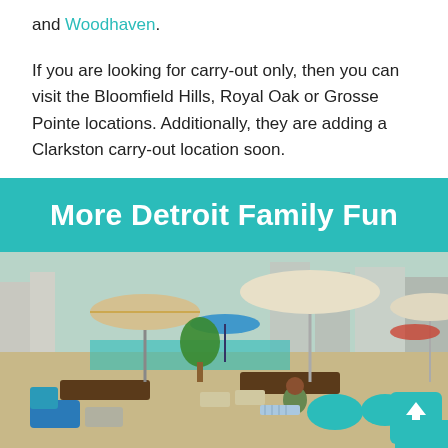and Woodhaven.
If you are looking for carry-out only, then you can visit the Bloomfield Hills, Royal Oak or Grosse Pointe locations. Additionally, they are adding a Clarkston carry-out location soon.
More Detroit Family Fun
[Figure (photo): Outdoor urban plaza or beach area with lounge chairs, large patio umbrellas, blue seating/bean bags, people relaxing, city buildings in background, sunny day.]